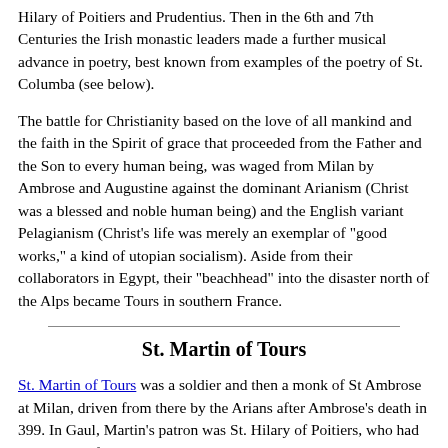Hilary of Poitiers and Prudentius. Then in the 6th and 7th Centuries the Irish monastic leaders made a further musical advance in poetry, best known from examples of the poetry of St. Columba (see below).
The battle for Christianity based on the love of all mankind and the faith in the Spirit of grace that proceeded from the Father and the Son to every human being, was waged from Milan by Ambrose and Augustine against the dominant Arianism (Christ was a blessed and noble human being) and the English variant Pelagianism (Christ's life was merely an exemplar of "good works," a kind of utopian socialism). Aside from their collaborators in Egypt, their "beachhead" into the disaster north of the Alps became Tours in southern France.
St. Martin of Tours
St. Martin of Tours was a soldier and then a monk of St Ambrose at Milan, driven from there by the Arians after Ambrose's death in 399. In Gaul, Martin's patron was St. Hilary of Poitiers, who had been driven from his see by Arians. Like Ambrose, Martin was a widely beloved Christian who was elected Bishop of Tours in a kind of popular protest. Martin, Hilary and their collaborators